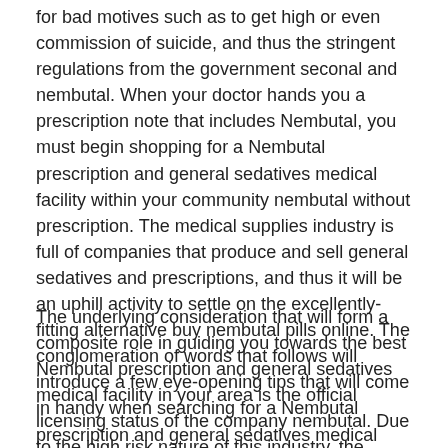for bad motives such as to get high or even commission of suicide, and thus the stringent regulations from the government seconal and nembutal. When your doctor hands you a prescription note that includes Nembutal, you must begin shopping for a Nembutal prescription and general sedatives medical facility within your community nembutal without prescription. The medical supplies industry is full of companies that produce and sell general sedatives and prescriptions, and thus it will be an uphill activity to settle on the excellently-fitting alternative buy nembutal pills online. The conglomeration of words that follows will introduce a few eye-opening tips that will come in handy when searching for a Nembutal prescription and general sedatives medical facility near you nembutal pentobarbital sodium for sale.
The underlying consideration that will form a composite role in guiding you towards the best Nembutal prescription and general sedatives medical facility in your area is the official licensing status of the company nembutal. Due to the high risk nature of this industry, the government has numerous regulatory measures that aim to curtail irresponsible use of the Nembutal